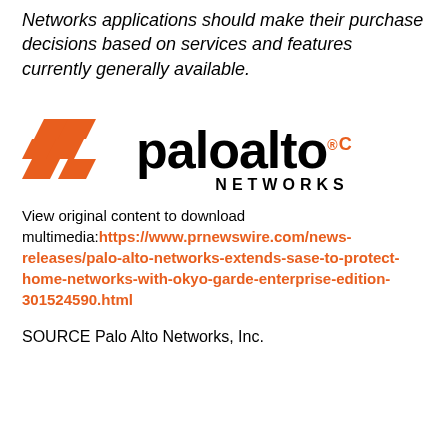Networks applications should make their purchase decisions based on services and features currently generally available.
[Figure (logo): Palo Alto Networks logo with orange geometric icon and black bold wordmark 'paloalto' with registered trademark symbol and orange C, and 'NETWORKS' in spaced capitals below]
View original content to download multimedia:https://www.prnewswire.com/news-releases/palo-alto-networks-extends-sase-to-protect-home-networks-with-okyo-garde-enterprise-edition-301524590.html
SOURCE Palo Alto Networks, Inc.